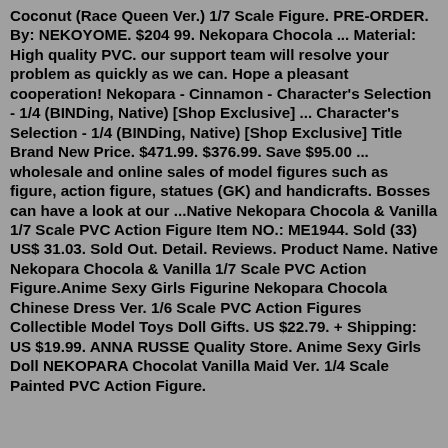Coconut (Race Queen Ver.) 1/7 Scale Figure. PRE-ORDER. By: NEKOYOME. $204 99. Nekopara Chocola ... Material: High quality PVC. our support team will resolve your problem as quickly as we can. Hope a pleasant cooperation! Nekopara - Cinnamon - Character's Selection - 1/4 (BINDing, Native) [Shop Exclusive] ... Character's Selection - 1/4 (BINDing, Native) [Shop Exclusive] Title Brand New Price. $471.99. $376.99. Save $95.00 ... wholesale and online sales of model figures such as figure, action figure, statues (GK) and handicrafts. Bosses can have a look at our ...Native Nekopara Chocola & Vanilla 1/7 Scale PVC Action Figure Item NO.: ME1944. Sold (33) US$ 31.03. Sold Out. Detail. Reviews. Product Name. Native Nekopara Chocola & Vanilla 1/7 Scale PVC Action Figure.Anime Sexy Girls Figurine Nekopara Chocola Chinese Dress Ver. 1/6 Scale PVC Action Figures Collectible Model Toys Doll Gifts. US $22.79. + Shipping: US $19.99. ANNA RUSSE Quality Store. Anime Sexy Girls Doll NEKOPARA Chocolat Vanilla Maid Ver. 1/4 Scale Painted PVC Action Figure.